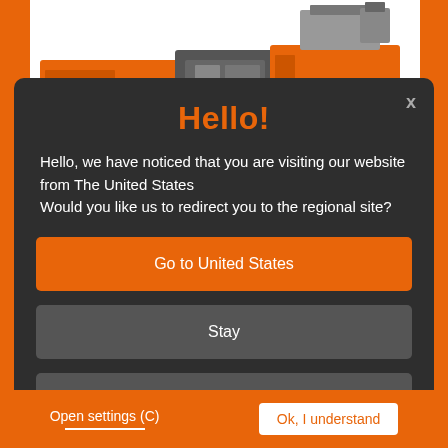[Figure (photo): Orange industrial injection molding machine on white/orange background]
Hello!
Hello, we have noticed that you are visiting our website from The United States
Would you like us to redirect you to the regional site?
Go to United States
Stay
🌐 Browse Global Sites
Open settings (C)
Ok, I understand